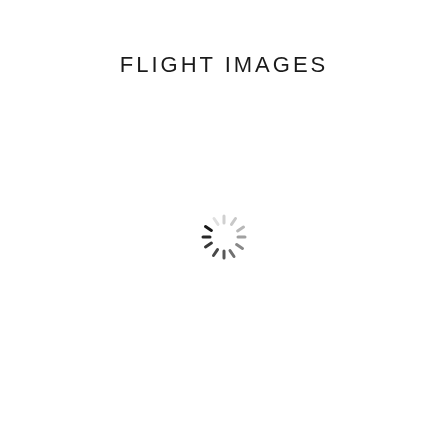FLIGHT IMAGES
[Figure (other): Loading spinner icon — a circular arrangement of short radial strokes transitioning from dark (black) at the bottom-left to light gray at the top, indicating a loading/wait state.]